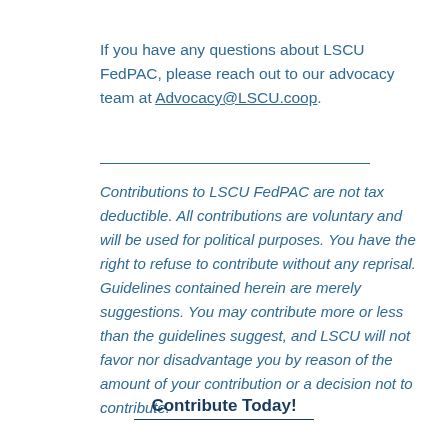If you have any questions about LSCU FedPAC, please reach out to our advocacy team at Advocacy@LSCU.coop.
Contributions to LSCU FedPAC are not tax deductible. All contributions are voluntary and will be used for political purposes. You have the right to refuse to contribute without any reprisal. Guidelines contained herein are merely suggestions. You may contribute more or less than the guidelines suggest, and LSCU will not favor nor disadvantage you by reason of the amount of your contribution or a decision not to contribute.
Contribute Today!